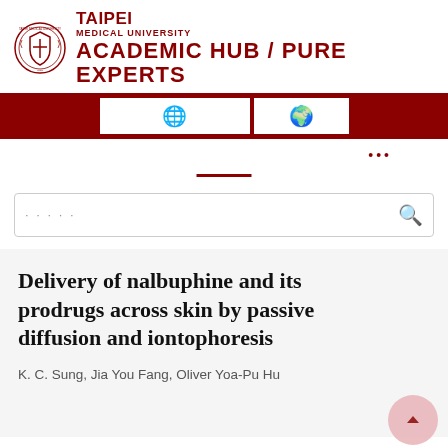[Figure (logo): Taipei Medical University logo and wordmark with shield emblem]
[Figure (screenshot): Navigation bar with dark red background and two white icon buttons (globe icons)]
[Figure (screenshot): Sub-navigation bar with three dots menu and a red underline bar]
[Figure (screenshot): Search bar with placeholder dots and search icon]
Delivery of nalbuphine and its prodrugs across skin by passive diffusion and iontophoresis
K. C. Sung, Jia You Fang, Oliver Yoa-Pu Hu